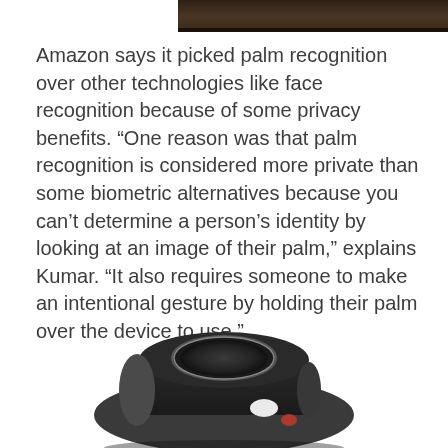[Figure (photo): Top portion of a dark brown/black image, appears to be top edge of a device or surface]
Amazon says it picked palm recognition over other technologies like face recognition because of some privacy benefits. “One reason was that palm recognition is considered more private than some biometric alternatives because you can’t determine a person’s identity by looking at an image of their palm,” explains Kumar. “It also requires someone to make an intentional gesture by holding their palm over the device to use.”
[Figure (photo): Amazon One palm recognition device - a small black handheld scanner device with a circular sensor on top and a small oval button/indicator on the front]